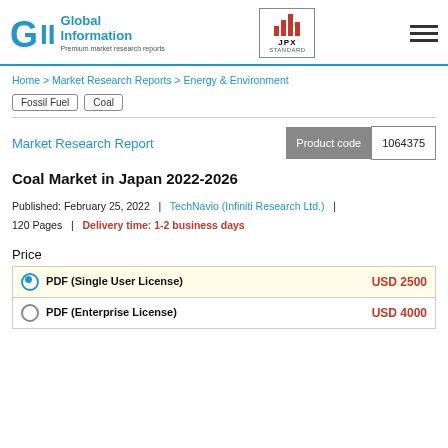[Figure (logo): GII Global Information logo with JPX Standard badge and hamburger menu icon]
Home > Market Research Reports > Energy & Environment
Fossil Fuel   Coal
Market Research Report
Product code   1064375
Coal Market in Japan 2022-2026
Published: February 25, 2022  |  TechNavio (Infiniti Research Ltd.)  |  120 Pages  |  Delivery time: 1-2 business days
Price
| License | Price |
| --- | --- |
| PDF (Single User License) | USD 2500 |
| PDF (Enterprise License) | USD 4000 |